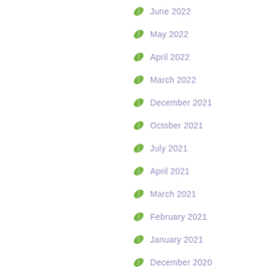June 2022
May 2022
April 2022
March 2022
December 2021
October 2021
July 2021
April 2021
March 2021
February 2021
January 2021
December 2020
November 2020
October 2020